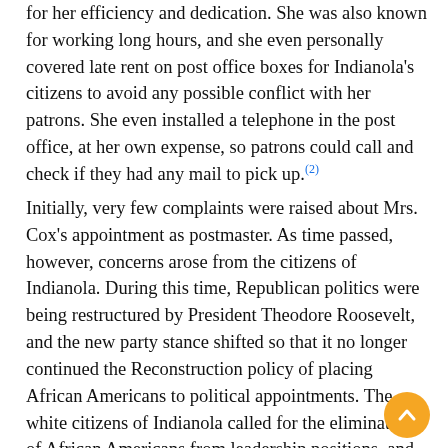for her efficiency and dedication. She was also known for working long hours, and she even personally covered late rent on post office boxes for Indianola's citizens to avoid any possible conflict with her patrons. She even installed a telephone in the post office, at her own expense, so patrons could call and check if they had any mail to pick up.(2)
Initially, very few complaints were raised about Mrs. Cox's appointment as postmaster. As time passed, however, concerns arose from the citizens of Indianola. During this time, Republican politics were being restructured by President Theodore Roosevelt, and the new party stance shifted so that it no longer continued the Reconstruction policy of placing African Americans to political appointments. The white citizens of Indianola called for the elimination of African Americans from leadership positions, and specifically for the removal of Mrs. Cox.(3) In doing so, they hoped to create an opening for a white postmaster.